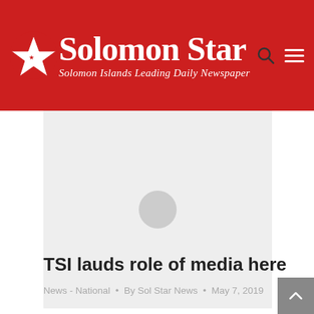Solomon Star — Solomon Islands Leading Daily Newspaper
[Figure (photo): Loading image placeholder with grey circle spinner on light grey background]
TSI lauds role of media here
News - National  •  By Sol Star News  •  May 7, 2019